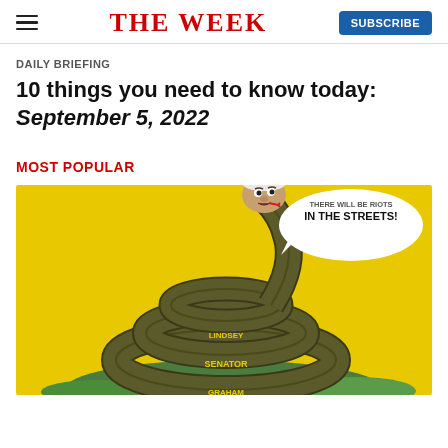THE WEEK
DAILY BRIEFING
10 things you need to know today: September 5, 2022
MOST POPULAR
[Figure (illustration): Political cartoon showing a caricature of a politician's head on a coiled snake (Gadsden flag style) on a yellow background, with text in a speech bubble reading 'THERE WILL BE RIOTS IN THE STREETS!' Text on the snake's body reads 'SENATOR', 'LINDSEY', 'GRAHAM']